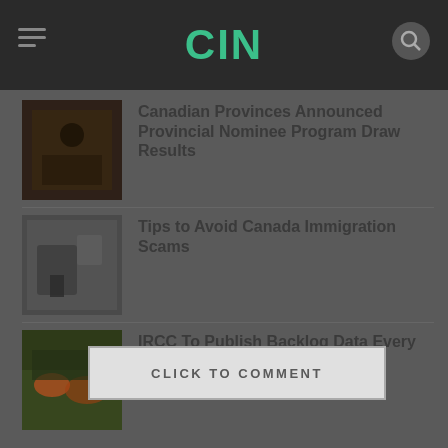CIN
Canadian Provinces Announced Provincial Nominee Program Draw Results
Tips to Avoid Canada Immigration Scams
IRCC To Publish Backlog Data Every Month
CLICK TO COMMENT